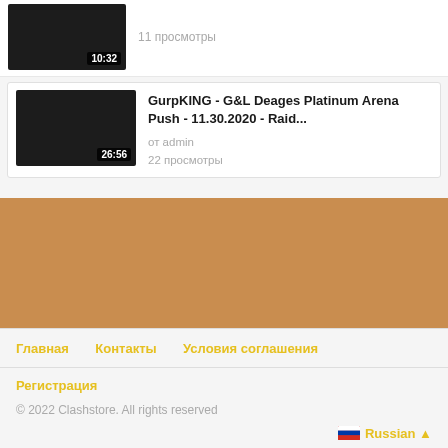11 просмотры
GurpKING - G&L Deages Platinum Arena Push - 11.30.2020 - Raid...
от admin
22 просмотры
[Figure (other): Orange/tan colored banner rectangle]
Главная
Контакты
Условия соглашения
Регистрация
© 2022 Clashstore. All rights reserved
Russian ▲